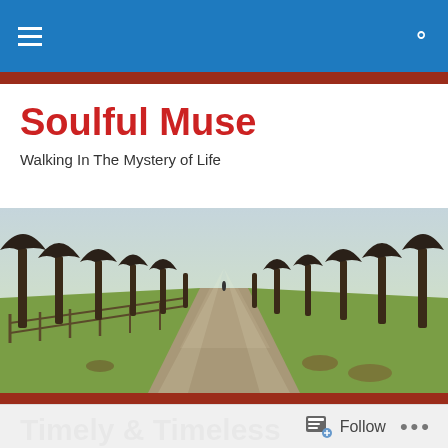Navigation bar with hamburger menu and search icon
Soulful Muse
Walking In The Mystery of Life
[Figure (photo): A tree-lined path/avenue with bare-branched trees on both sides, green grass, wooden fence on the left, misty background with a person walking in the distance.]
Timely & Timeless
“It’s about time,” your mother says, sitting in the living room in her pj’s at 1:00 a.m. when you promised to be
Follow …